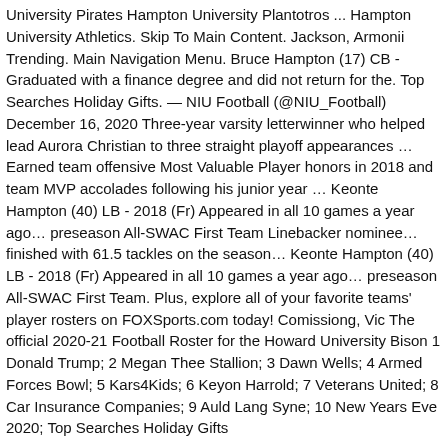University Pirates Hampton University Plantotros ... Hampton University Athletics. Skip To Main Content. Jackson, Armonii Trending. Main Navigation Menu. Bruce Hampton (17) CB - Graduated with a finance degree and did not return for the. Top Searches Holiday Gifts. — NIU Football (@NIU_Football) December 16, 2020 Three-year varsity letterwinner who helped lead Aurora Christian to three straight playoff appearances … Earned team offensive Most Valuable Player honors in 2018 and team MVP accolades following his junior year … Keonte Hampton (40) LB - 2018 (Fr) Appeared in all 10 games a year ago… preseason All-SWAC First Team Linebacker nominee… finished with 61.5 tackles on the season… Keonte Hampton (40) LB - 2018 (Fr) Appeared in all 10 games a year ago… preseason All-SWAC First Team. Plus, explore all of your favorite teams' player rosters on FOXSports.com today! Comissiong, Vic The official 2020-21 Football Roster for the Howard University Bison 1 Donald Trump; 2 Megan Thee Stallion; 3 Dawn Wells; 4 Armed Forces Bowl; 5 Kars4Kids; 6 Keyon Harrold; 7 Veterans United; 8 Car Insurance Companies; 9 Auld Lang Syne; 10 New Years Eve 2020; Top Searches Holiday Gifts